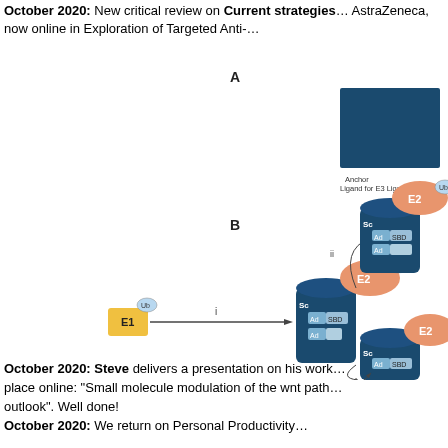October 2020: New critical review on Current strategies... AstraZeneca, now online in Exploration of Targeted Anti-...
[Figure (schematic): Scientific diagram showing two panels A and B. Panel A shows a dark blue rectangle labeled with 'Anchor Ligand for E3 Ligas-'. Panel B shows a ubiquitination cascade schematic with E1 enzyme (yellow box with Ub label), connected via arrow labeled 'i' to an E3 ligase complex (dark blue cylinder with Sc, Ad, SBD labels) interacting with E2 enzyme (orange oval with Ub), with arrow labeled 'ii' leading to another E2-Ub complex interaction, and a third E2 complex shown below.]
October 2020: Steve delivers a presentation on his work... place online: "Small molecule modulation of the wnt path... outlook". Well done!
October 2020: We return on Personal Productivity...